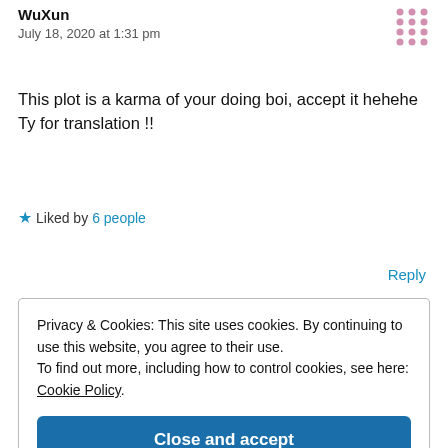WuXun
July 18, 2020 at 1:31 pm
This plot is a karma of your doing boi, accept it hehehe Ty for translation !!
★ Liked by 6 people
Reply
Privacy & Cookies: This site uses cookies. By continuing to use this website, you agree to their use. To find out more, including how to control cookies, see here: Cookie Policy
Close and accept